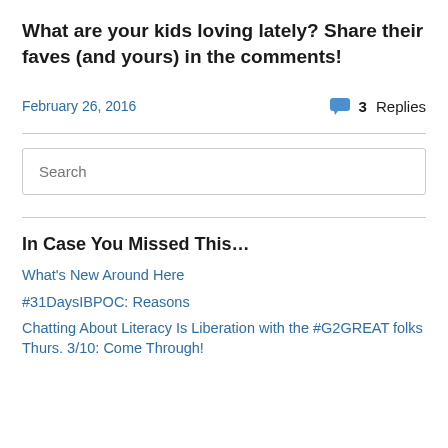What are your kids loving lately? Share their faves (and yours) in the comments!
February 26, 2016   💬 3 Replies
Search
In Case You Missed This…
What's New Around Here
#31DaysIBPOC: Reasons
Chatting About Literacy Is Liberation with the #G2GREAT folks Thurs. 3/10: Come Through!